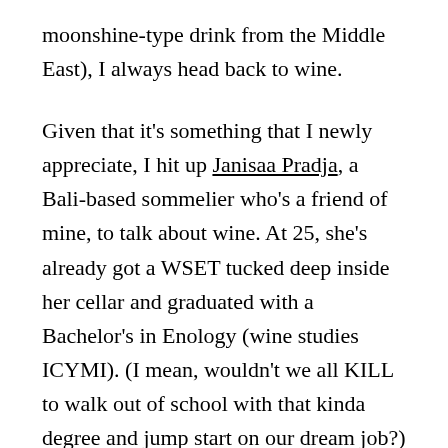moonshine-type drink from the Middle East), I always head back to wine.
Given that it's something that I newly appreciate, I hit up Janisaa Pradja, a Bali-based sommelier who's a friend of mine, to talk about wine. At 25, she's already got a WSET tucked deep inside her cellar and graduated with a Bachelor's in Enology (wine studies ICYMI). (I mean, wouldn't we all KILL to walk out of school with that kinda degree and jump start on our dream job?) Through e-mail, both of us chit chatted about cooking with wine, the art of alcohol appreciation, the science behind the price behind the world's most expensive wine